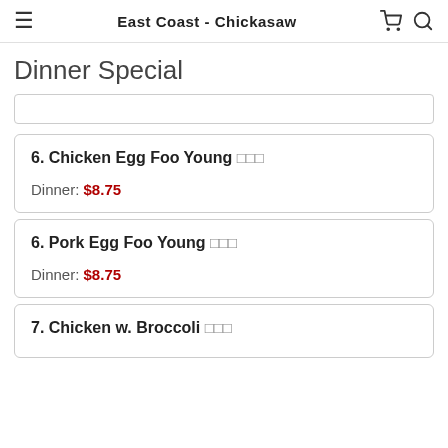East Coast - Chickasaw
Dinner Special
6. Chicken Egg Foo Young  Dinner: $8.75
6. Pork Egg Foo Young  Dinner: $8.75
7. Chicken w. Broccoli